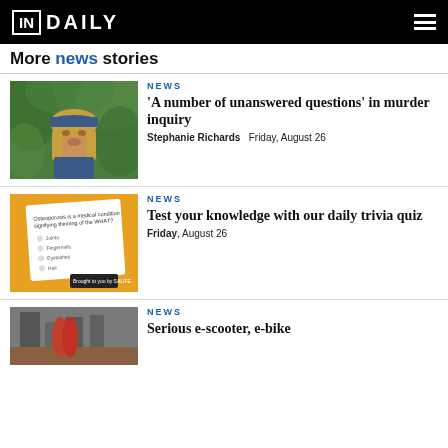IN DAILY
More news stories
[Figure (photo): Outdoor photo of a middle-aged man with long blonde hair wearing a cap, in front of tropical foliage]
NEWS
'A number of unanswered questions' in murder inquiry
Stephanie Richards   Friday, August 26
[Figure (screenshot): Quiz card on yellow background reading 'Osteoporosis is a medical condition signifying thinning of the WHAT?' with multiple choice options: Joints, Fingernails, Eyelashes, Hair. Brought to you by SALIFE.]
NEWS
Test your knowledge with our daily trivia quiz
Friday, August 26
[Figure (photo): Street scene photo partially visible at bottom]
NEWS
Serious e-scooter, e-bike